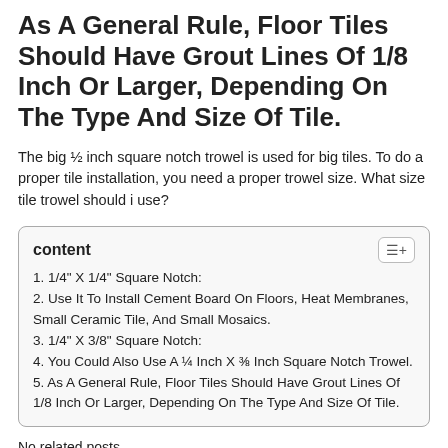As A General Rule, Floor Tiles Should Have Grout Lines Of 1/8 Inch Or Larger, Depending On The Type And Size Of Tile.
The big ½ inch square notch trowel is used for big tiles. To do a proper tile installation, you need a proper trowel size. What size tile trowel should i use?
1. 1/4" X 1/4" Square Notch:
2. Use It To Install Cement Board On Floors, Heat Membranes, Small Ceramic Tile, And Small Mosaics.
3. 1/4" X 3/8" Square Notch:
4. You Could Also Use A ¼ Inch X ⅜ Inch Square Notch Trowel.
5. As A General Rule, Floor Tiles Should Have Grout Lines Of 1/8 Inch Or Larger, Depending On The Type And Size Of Tile.
No related posts.